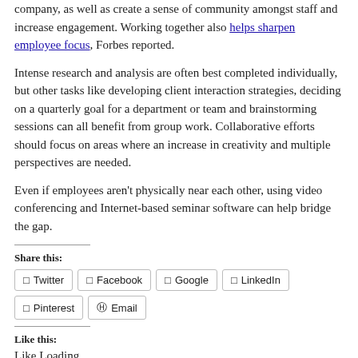company, as well as create a sense of community amongst staff and increase engagement. Working together also helps sharpen employee focus, Forbes reported.
Intense research and analysis are often best completed individually, but other tasks like developing client interaction strategies, deciding on a quarterly goal for a department or team and brainstorming sessions can all benefit from group work. Collaborative efforts should focus on areas where an increase in creativity and multiple perspectives are needed.
Even if employees aren't physically near each other, using video conferencing and Internet-based seminar software can help bridge the gap.
Share this:
Twitter Facebook Google LinkedIn Pinterest Email
Like this:
Like Loading...